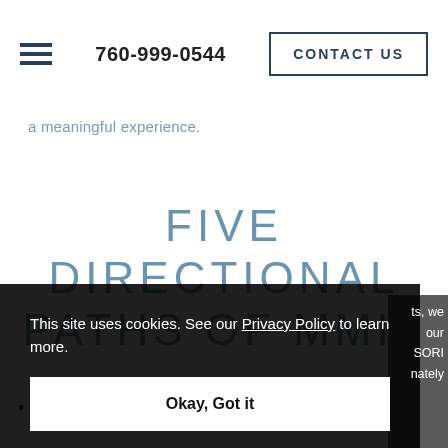760-999-0544  CONTACT US
a meaningful experience.
FIVE DIRECTIONAL PATHS OF MMIT
This site uses cookies. See our Privacy Policy to learn more.
Okay, Got it
serve individuals who have come to a vulnerable and